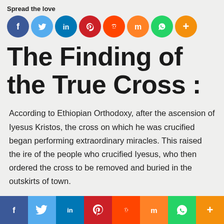Spread the love
[Figure (infographic): Row of 8 colored social media icon circles: Facebook (blue), Twitter (light blue), LinkedIn (dark blue), Pinterest (red), Reddit (orange-red), Mix (orange), WhatsApp (green), More/Plus (gold-orange)]
The Finding of the True Cross :
According to Ethiopian Orthodoxy, after the ascension of Iyesus Kristos, the cross on which he was crucified began performing extraordinary miracles. This raised the ire of the people who crucified Iyesus, who then ordered the cross to be removed and buried in the outskirts of town.
[Figure (infographic): Bottom navigation bar with 8 colored panels: Facebook (dark blue), Twitter (light blue), LinkedIn (dark blue), Pinterest (red), Reddit (orange-red), Mix (orange), WhatsApp (green), More/Plus (orange)]